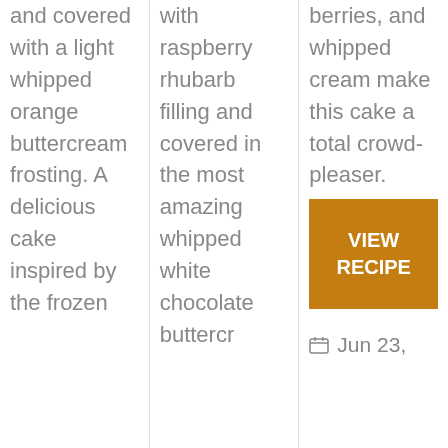and covered with a light whipped orange buttercream frosting. A delicious cake inspired by the frozen
with raspberry rhubarb filling and covered in the most amazing whipped white chocolate buttercr
berries, and whipped cream make this cake a total crowd-pleaser.
VIEW RECIPE
Jun 23,